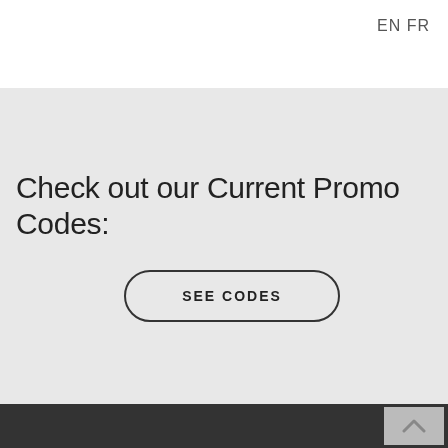EN FR
Check out our Current Promo Codes:
SEE CODES